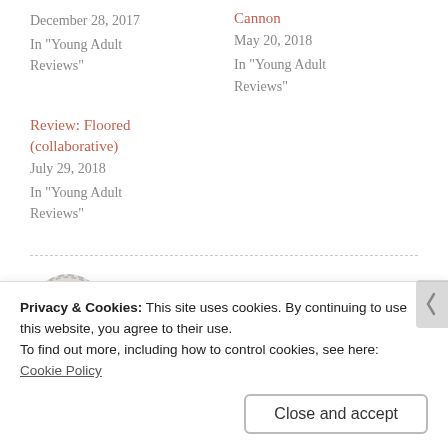December 28, 2017
In "Young Adult Reviews"
Cannon
May 20, 2018
In "Young Adult Reviews"
Review: Floored (collaborative)
July 29, 2018
In "Young Adult Reviews"
Published by
Privacy & Cookies: This site uses cookies. By continuing to use this website, you agree to their use.
To find out more, including how to control cookies, see here:
Cookie Policy
Close and accept